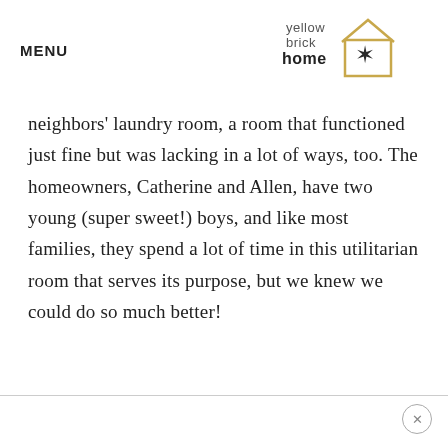MENU | yellow brick home logo
neighbors' laundry room, a room that functioned just fine but was lacking in a lot of ways, too. The homeowners, Catherine and Allen, have two young (super sweet!) boys, and like most families, they spend a lot of time in this utilitarian room that serves its purpose, but we knew we could do so much better!